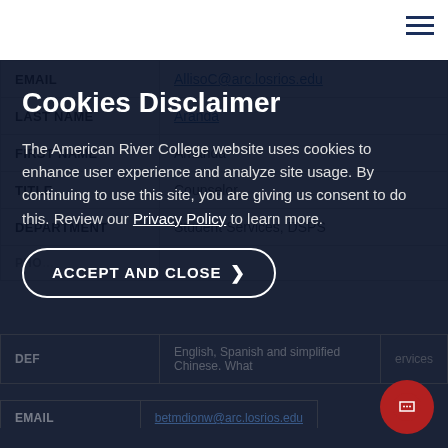[Figure (screenshot): Hamburger menu icon in top-right corner, three horizontal dark blue lines]
| Field | Value |
| --- | --- |
| EMAIL | AllisoC@arc.losrios.edu |
| LAST NAME | Aranda |
| FIRST NAME | Amanda |
| TITLE | Counselor |
| DEPARTMENT | Student Services, DSPS |
| PHO... |  |
| DEF |  |
| PR... |  |
| EMAIL | betmdionw@arc.losrios.edu |
Cookies Disclaimer
The American River College website uses cookies to enhance user experience and analyze site usage. By continuing to use this site, you are giving us consent to do this. Review our Privacy Policy to learn more.
ACCEPT AND CLOSE